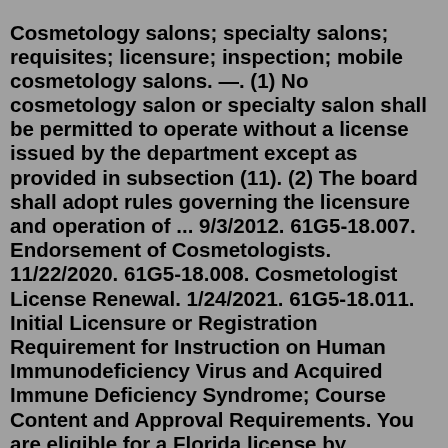Cosmetology salons; specialty salons; requisites; licensure; inspection; mobile cosmetology salons. —. (1) No cosmetology salon or specialty salon shall be permitted to operate without a license issued by the department except as provided in subsection (11). (2) The board shall adopt rules governing the licensure and operation of ... 9/3/2012. 61G5-18.007. Endorsement of Cosmetologists. 11/22/2020. 61G5-18.008. Cosmetologist License Renewal. 1/24/2021. 61G5-18.011. Initial Licensure or Registration Requirement for Instruction on Human Immunodeficiency Virus and Acquired Immune Deficiency Syndrome; Course Content and Approval Requirements. You are eligible for a Florida license by endorsement if you have a current and active license in another state, with the requirements of the other state being equal to or greater than the requirements of Florida cosmetology applicants. Florida cosmetology applicants are required to have 1,200 school hours and pass a licensing examination. Chapter 464 - NURSING. Part I - NURSE